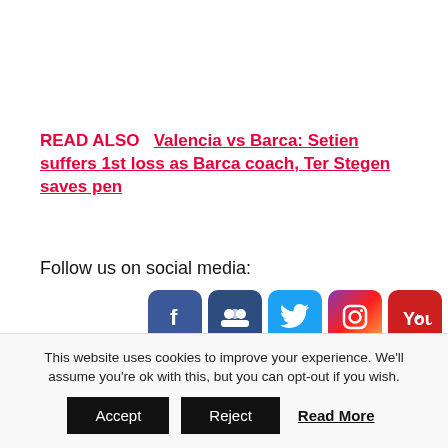READ ALSO  Valencia vs Barca: Setien suffers 1st loss as Barca coach, Ter Stegen saves pen
Follow us on social media:
[Figure (infographic): Row of 7 social media follow icons: Facebook, Myspace/Groups, Twitter, Instagram, YouTube, Telegram, Email]
[Figure (infographic): Row of 5 social sharing icons: Facebook, Twitter, WhatsApp, Pinterest, Share/More]
This website uses cookies to improve your experience. We'll assume you're ok with this, but you can opt-out if you wish.
Accept  Reject  Read More